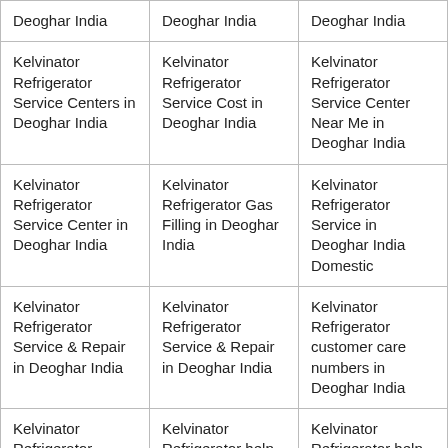| Deoghar India | Deoghar India | Deoghar India |
| Kelvinator Refrigerator Service Centers in Deoghar India | Kelvinator Refrigerator Service Cost in Deoghar India | Kelvinator Refrigerator Service Center Near Me in Deoghar India |
| Kelvinator Refrigerator Service Center in Deoghar India | Kelvinator Refrigerator Gas Filling in Deoghar India | Kelvinator Refrigerator Service in Deoghar India Domestic |
| Kelvinator Refrigerator Service & Repair in Deoghar India | Kelvinator Refrigerator Service & Repair in Deoghar India | Kelvinator Refrigerator customer care numbers in Deoghar India |
| Kelvinator Refrigerator Fridge | Kelvinator Refrigerator help | Kelvinator Refrigerator help |